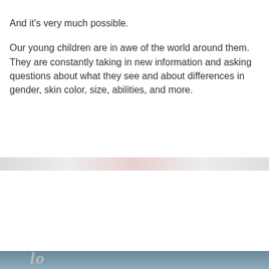And it's very much possible.
Our young children are in awe of the world around them. They are constantly taking in new information and asking questions about what they see and about differences in gender, skin color, size, abilities, and more.
[Figure (screenshot): Partial view of a website page with a cookie consent banner overlay. The banner contains text about privacy and cookies policy, a link to Cookie Policy, and a red 'CLOSE AND ACCEPT' button. A scroll-to-top arrow is visible on the right side.]
[Figure (photo): Bottom portion of a photo showing what appears to be a person or child, partially visible, with a bluish-green background.]